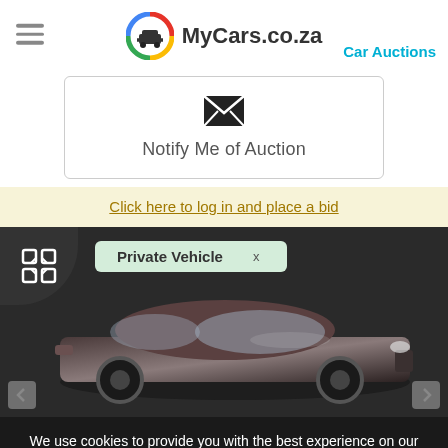[Figure (logo): MyCars.co.za logo with circular icon showing a car silhouette in a multi-colored ring, next to text 'MyCars.co.za']
Car Auctions
[Figure (other): Notify Me of Auction button with envelope icon inside a rounded rectangle border]
Click here to log in and place a bid
[Figure (photo): Dark sedan car photo with Private Vehicle tag overlay and expand/fullscreen button in top left corner]
We use cookies to provide you with the best experience on our website. By continuing to use our website, you are agreeing to the use of cookies. Click to close